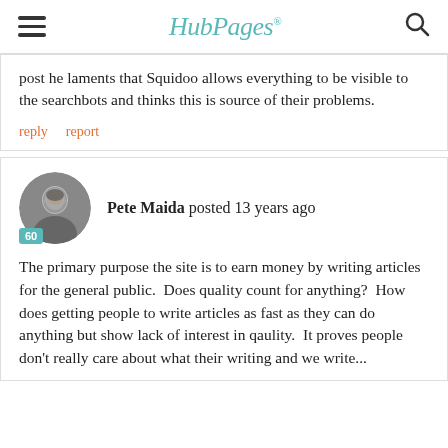HubPages
post he laments that Squidoo allows everything to be visible to the searchbots and thinks this is source of their problems.
reply   report
Pete Maida posted 13 years ago
The primary purpose the site is to earn money by writing articles for the general public.  Does quality count for anything?  How does getting people to write articles as fast as they can do anything but show lack of interest in qaulity.  It proves people don't really care about what their writing and we write...